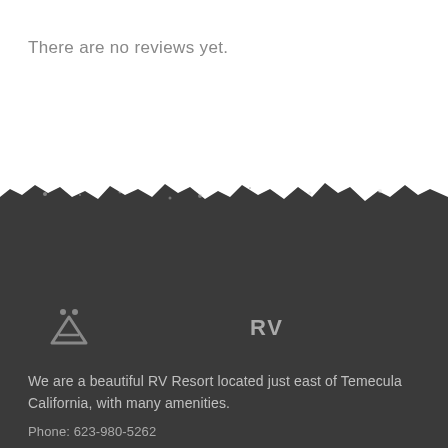There are no reviews yet.
[Figure (illustration): Torn paper edge effect separating white top section from dark gray bottom section]
[Figure (logo): KOA campground tent/person icon logo in gray, followed by 'RV' text label in gray]
We are a beautiful RV Resort located just east of Temecula California, with many amenities.
Phone: 623-980-5262